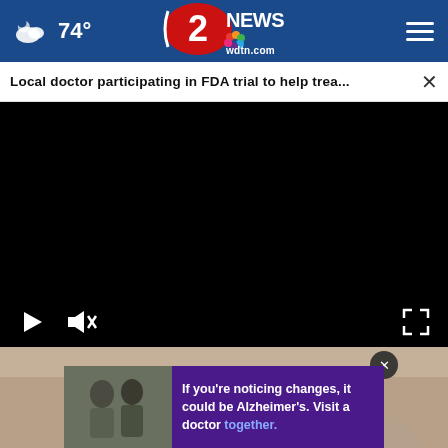74° | 2 NEWS wdtn.com
Local doctor participating in FDA trial to help trea...
[Figure (screenshot): Black video player area with play button, mute button, and fullscreen button controls at the bottom]
[Figure (photo): Bottom thumbnail area showing medical scene with advertisement overlay: 'If you're noticing changes, it could be Alzheimer's. Visit a doctor together.']